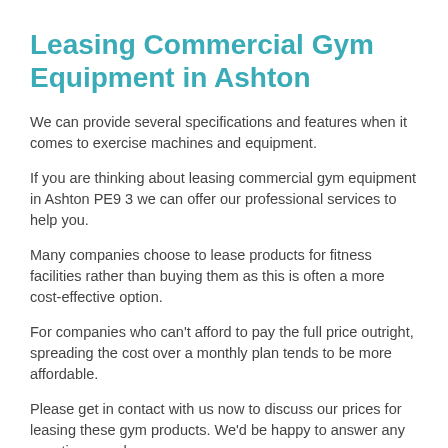Leasing Commercial Gym Equipment in Ashton
We can provide several specifications and features when it comes to exercise machines and equipment.
If you are thinking about leasing commercial gym equipment in Ashton PE9 3 we can offer our professional services to help you.
Many companies choose to lease products for fitness facilities rather than buying them as this is often a more cost-effective option.
For companies who can't afford to pay the full price outright, spreading the cost over a monthly plan tends to be more affordable.
Please get in contact with us now to discuss our prices for leasing these gym products. We'd be happy to answer any questions you have.